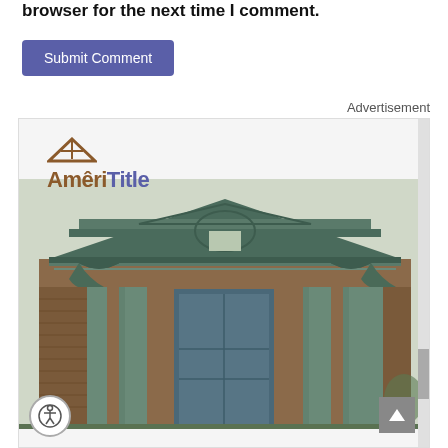browser for the next time I comment.
Submit Comment
Advertisement
[Figure (photo): AmeriTitle company advertisement featuring exterior photo of a brick and green-roofed commercial building with classical architectural elements including columns and decorative pediment. The AmeriTitle logo appears in the upper left of the advertisement.]